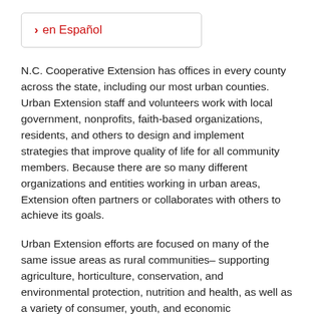> en Español
N.C. Cooperative Extension has offices in every county across the state, including our most urban counties. Urban Extension staff and volunteers work with local government, nonprofits, faith-based organizations, residents, and others to design and implement strategies that improve quality of life for all community members. Because there are so many different organizations and entities working in urban areas, Extension often partners or collaborates with others to achieve its goals.
Urban Extension efforts are focused on many of the same issue areas as rural communities– supporting agriculture, horticulture, conservation, and environmental protection, nutrition and health, as well as a variety of consumer, youth, and economic...